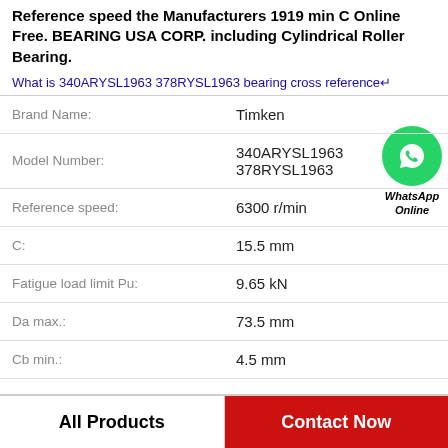Reference speed the Manufacturers 1919 min C Online Free. BEARING USA CORP. including Cylindrical Roller Bearing.
What is 340ARYSL1963 378RYSL1963 bearing cross reference↵
| Property | Value |
| --- | --- |
| Brand Name: | Timken |
| Model Number: | 340ARYSL1963 378RYSL1963 |
| Reference speed: | 6300 r/min |
| C: | 15.5 mm |
| Fatigue load limit Pu: | 9.65 kN |
| Da max.: | 73.5 mm |
| Cb min.: | 4.5 mm |
[Figure (illustration): WhatsApp Online green phone icon with label 'WhatsApp Online']
All Products
Contact Now